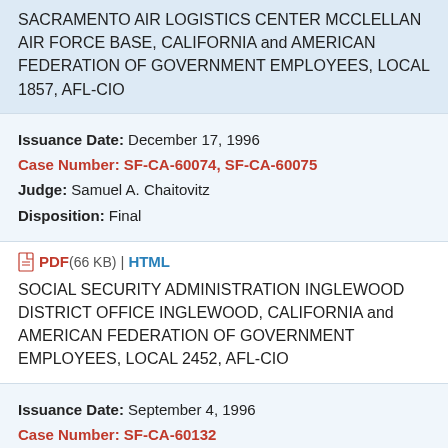SACRAMENTO AIR LOGISTICS CENTER MCCLELLAN AIR FORCE BASE, CALIFORNIA and AMERICAN FEDERATION OF GOVERNMENT EMPLOYEES, LOCAL 1857, AFL-CIO
Issuance Date: December 17, 1996
Case Number: SF-CA-60074, SF-CA-60075
Judge: Samuel A. Chaitovitz
Disposition: Final
PDF (66 KB) | HTML
SOCIAL SECURITY ADMINISTRATION INGLEWOOD DISTRICT OFFICE INGLEWOOD, CALIFORNIA and AMERICAN FEDERATION OF GOVERNMENT EMPLOYEES, LOCAL 2452, AFL-CIO
Issuance Date: September 4, 1996
Case Number: SF-CA-60132
Judge: Eli Nash Jr.
Disposition: Final